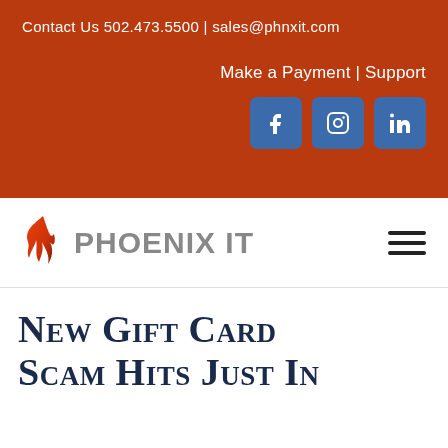Contact Us 502.473.5500 | sales@phnxit.com
Make a Payment | Support
[Figure (other): Social media icons: Facebook, Instagram, LinkedIn]
[Figure (logo): Phoenix IT company logo with flame icon]
New Gift Card Scam Hits Just In...